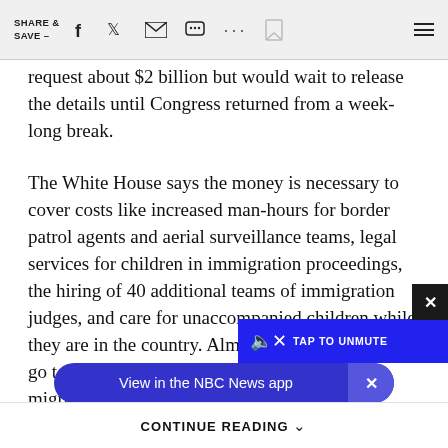SHARE & SAVE —
request about $2 billion but would wait to release the details until Congress returned from a week-long break.
The White House says the money is necessary to cover costs like increased man-hours for border patrol agents and aerial surveillance teams, legal services for children in immigration proceedings, the hiring of 40 additional teams of immigration judges, and care for unaccompanied children while they are in the country. Almost $300 million would go towards efforts to “repatriate and reintegrate migrants to Central America” and address the underlying economic and security causes of the spike in child migrant
[Figure (screenshot): TAP TO UNMUTE overlay button in blue, with X close button in dark]
[Figure (screenshot): View in the NBC News app blue rounded banner with X button]
CONTINUE READING ⌃